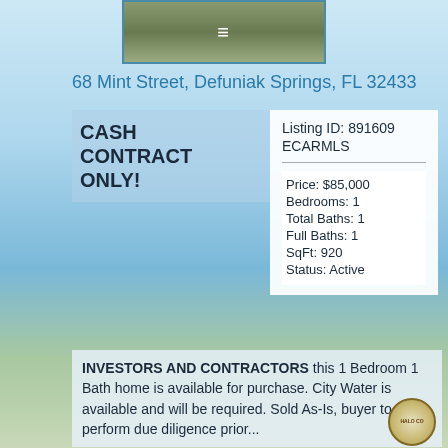[Figure (photo): Top navigation image with hamburger menu icon over blurred outdoor scene]
68 Mint Street, Defuniak Springs, FL 32433
CASH CONTRACT ONLY!
Listing ID: 891609 ECARMLS
Price: $85,000
Bedrooms: 1
Total Baths: 1
Full Baths: 1
SqFt: 920
Status: Active
INVESTORS AND CONTRACTORS this 1 Bedroom 1 Bath home is available for purchase. City Water is available and will be required. Sold As-Is, buyer to perform due diligence prior...